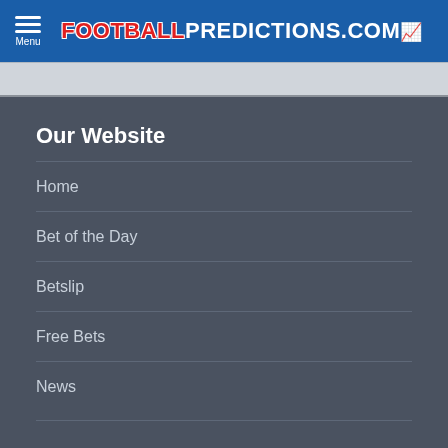FOOTBALLPREDICTIONS.COM
Our Website
Home
Bet of the Day
Betslip
Free Bets
News
Bookmakers
UK   KE   NG